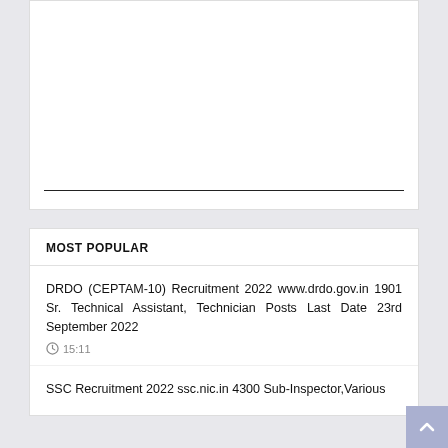[Figure (other): White advertisement box with a horizontal black line near the bottom]
MOST POPULAR
DRDO (CEPTAM-10) Recruitment 2022 www.drdo.gov.in 1901 Sr. Technical Assistant, Technician Posts Last Date 23rd September 2022
15:11
SSC Recruitment 2022 ssc.nic.in 4300 Sub-Inspector,Various